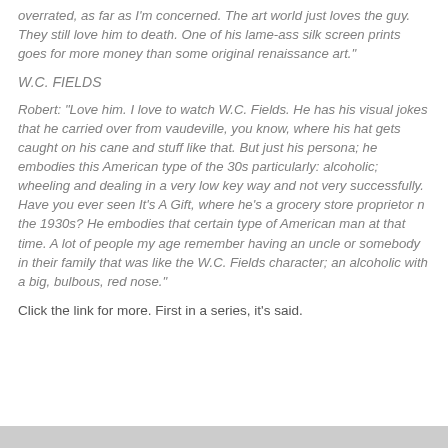overrated, as far as I'm concerned. The art world just loves the guy. They still love him to death. One of his lame-ass silk screen prints goes for more money than some original renaissance art."
W.C. FIELDS
Robert: "Love him. I love to watch W.C. Fields. He has his visual jokes that he carried over from vaudeville, you know, where his hat gets caught on his cane and stuff like that. But just his persona; he embodies this American type of the 30s particularly: alcoholic; wheeling and dealing in a very low key way and not very successfully. Have you ever seen It's A Gift, where he's a grocery store proprietor n the 1930s? He embodies that certain type of American man at that time. A lot of people my age remember having an uncle or somebody in their family that was like the W.C. Fields character; an alcoholic with a big, bulbous, red nose."
Click the link for more. First in a series, it's said.